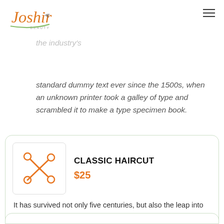Joshir Beauty
Lorem Ipsum is simply dummy text of the printing and typesetting industry. Lorem Ipsum has been the industry's standard dummy text ever since the 1500s, when an unknown printer took a galley of type and scrambled it to make a type specimen book.
[Figure (illustration): Orange scissors icon inside a white box with border, representing haircut service]
CLASSIC HAIRCUT
$25
It has survived not only five centuries, but also the leap into electronic typesetting, remaining essentially unchanged.